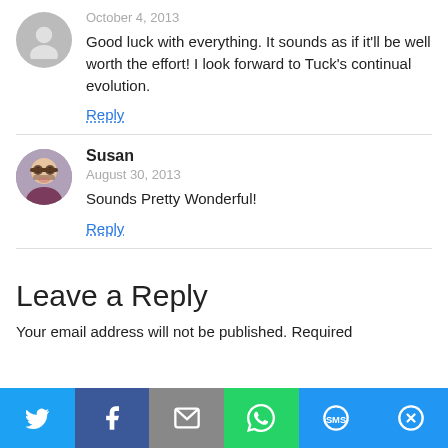October 4, 2013
Good luck with everything. It sounds as if it'll be well worth the effort! I look forward to Tuck's continual evolution.
Reply
Susan
August 30, 2013
Sounds Pretty Wonderful!
Reply
Leave a Reply
Your email address will not be published. Required